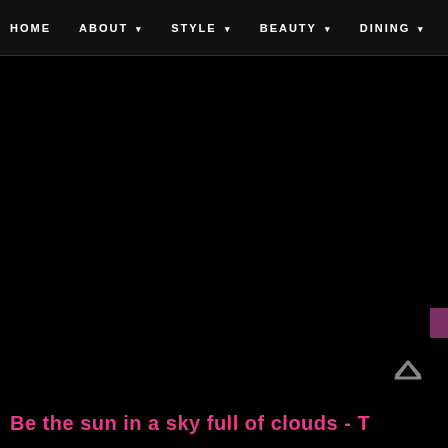HOME  ABOUT  STYLE  BEAUTY  DINING
[Figure (screenshot): Large black area occupying most of the page, representing a website hero/banner section with dark background]
Be the sun in a sky full of clouds - T